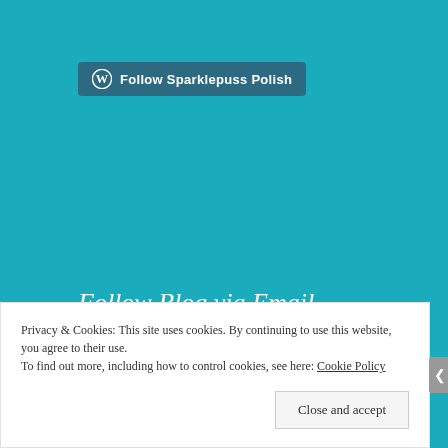[Figure (logo): WordPress Follow button with circular W logo and text 'Follow Sparklepuss Polish' on a teal-blue rounded rectangle]
Follow Blog via Email
Enter your email address to follow this blog and receive notifications of new posts by email.
[Figure (screenshot): Email input field with placeholder text 'Enter your email address']
Privacy & Cookies: This site uses cookies. By continuing to use this website, you agree to their use.
To find out more, including how to control cookies, see here: Cookie Policy
Close and accept